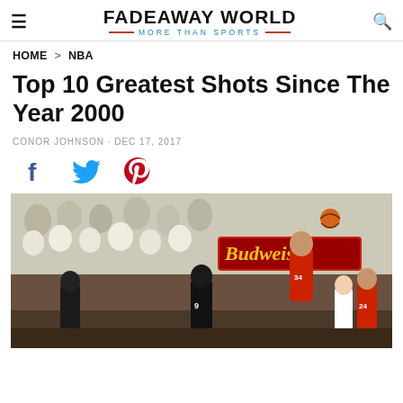FADEAWAY WORLD — MORE THAN SPORTS
HOME > NBA
Top 10 Greatest Shots Since The Year 2000
CONOR JOHNSON · DEC 17, 2017
[Figure (other): Social share icons: Facebook (blue f), Twitter (blue bird), Pinterest (red P)]
[Figure (photo): Basketball game photo: A player in a Miami Heat jersey (#34) shooting a jump shot in a packed arena full of fans dressed in white. Players from an opposing team (San Antonio Spurs, #9) are also visible. A Budweiser advertisement is visible in the background.]